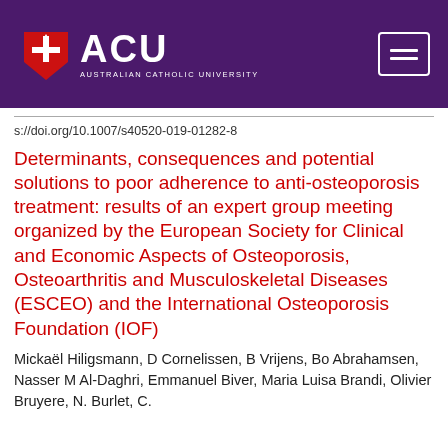[Figure (logo): Australian Catholic University (ACU) logo with purple header bar, ACU shield emblem, ACU text in white, and hamburger menu icon on the right]
s://doi.org/10.1007/s40520-019-01282-8
Determinants, consequences and potential solutions to poor adherence to anti-osteoporosis treatment: results of an expert group meeting organized by the European Society for Clinical and Economic Aspects of Osteoporosis, Osteoarthritis and Musculoskeletal Diseases (ESCEO) and the International Osteoporosis Foundation (IOF)
Mickaël Hiligsmann, D Cornelissen, B Vrijens, Bo Abrahamsen, Nasser M Al-Daghri, Emmanuel Biver, Maria Luisa Brandi, Olivier Bruyere, N. Burlet, C.